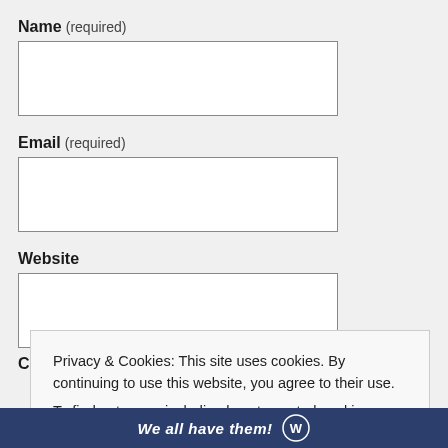Name (required)
Email (required)
Website
Privacy & Cookies: This site uses cookies. By continuing to use this website, you agree to their use. To find out more, including how to control cookies, see here: Cookie Policy
Close and accept
We all have them!